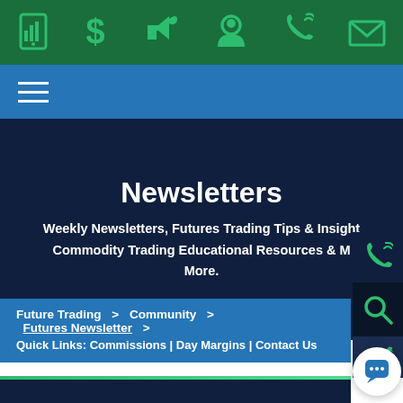[Figure (screenshot): Top navigation icon bar with green icons: mobile/chart, dollar sign, megaphone/alert, user profile, phone, envelope on dark green background]
[Figure (screenshot): Blue navigation menu bar with white hamburger menu icon]
Newsletters
Weekly Newsletters, Futures Trading Tips & Insight Commodity Trading Educational Resources & More.
Future Trading > Community > Futures Newsletter > Quick Links: Commissions | Day Margins | Contact Us